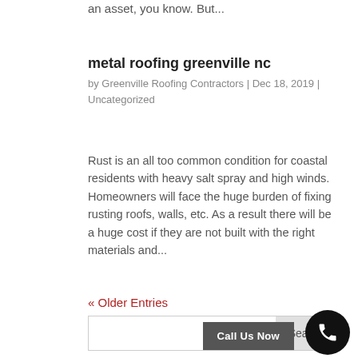an asset, you know. But...
metal roofing greenville nc
by Greenville Roofing Contractors | Dec 18, 2019 | Uncategorized
Rust is an all too common condition for coastal residents with heavy salt spray and high winds. Homeowners will face the huge burden of fixing rusting roofs, walls, etc. As a result there will be a huge cost if they are not built with the right materials and...
« Older Entries
Search
Call Us Now